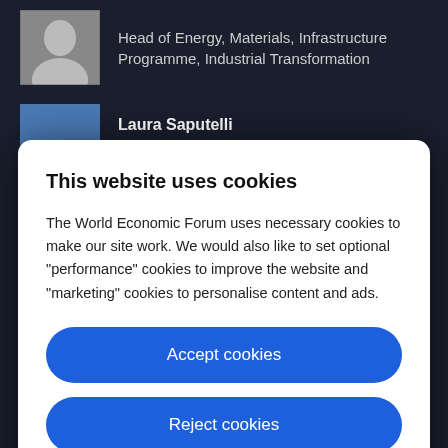Head of Energy, Materials, Infrastructure Programme, Industrial Transformation
Laura Saputelli
This website uses cookies
The World Economic Forum uses necessary cookies to make our site work. We would also like to set optional "performance" cookies to improve the website and "marketing" cookies to personalise content and ads.
Accept cookies
Reject cookies
Cookie settings